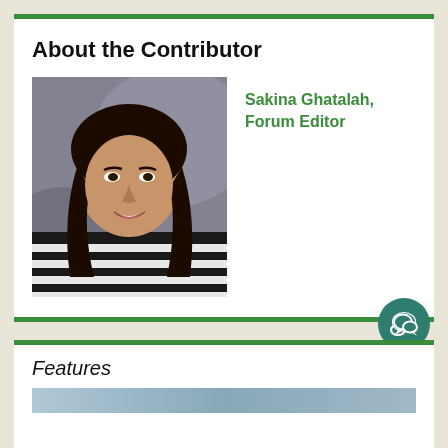About the Contributor
[Figure (photo): Headshot of Sakina Ghatalah, a young woman with long dark hair wearing a black and white striped sweater, photographed against a grey studio background]
Sakina Ghatalah, Forum Editor
Features
[Figure (photo): Partial bottom strip of another image/article preview]